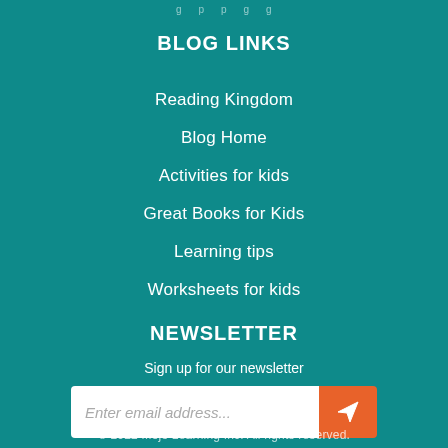g   p   p   g   g
BLOG LINKS
Reading Kingdom
Blog Home
Activities for kids
Great Books for Kids
Learning tips
Worksheets for kids
NEWSLETTER
Sign up for our newsletter
Enter email address...
© 2022 Mojo Learning Inc. All rights reserved.